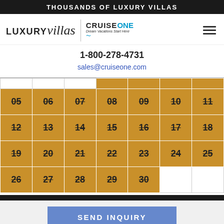THOUSANDS OF LUXURY VILLAS
[Figure (logo): LUXURYvillas | CruiseONE Dream Vacations Start Here logo with hamburger menu icon]
1-800-278-4731
sales@cruiseone.com
|  |  |  |  |  |  |  |
| 05 | 06 | 07 | 08 | 09 | 10 | 11 |
| 12 | 13 | 14 | 15 | 16 | 17 | 18 |
| 19 | 20 | 21 | 22 | 23 | 24 | 25 |
| 26 | 27 | 28 | 29 | 30 |  |  |
SEND INQUIRY